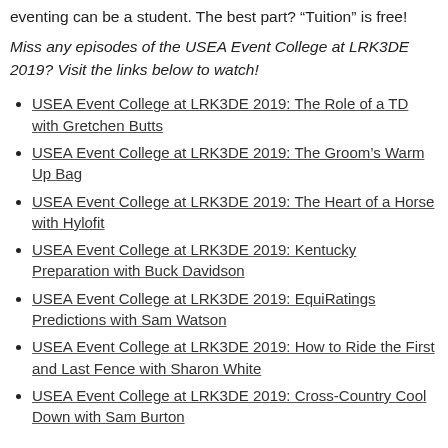eventing can be a student. The best part? “Tuition” is free!
Miss any episodes of the USEA Event College at LRK3DE 2019? Visit the links below to watch!
USEA Event College at LRK3DE 2019: The Role of a TD with Gretchen Butts
USEA Event College at LRK3DE 2019: The Groom’s Warm Up Bag
USEA Event College at LRK3DE 2019: The Heart of a Horse with Hylofit
USEA Event College at LRK3DE 2019: Kentucky Preparation with Buck Davidson
USEA Event College at LRK3DE 2019: EquiRatings Predictions with Sam Watson
USEA Event College at LRK3DE 2019: How to Ride the First and Last Fence with Sharon White
USEA Event College at LRK3DE 2019: Cross-Country Cool Down with Sam Burton